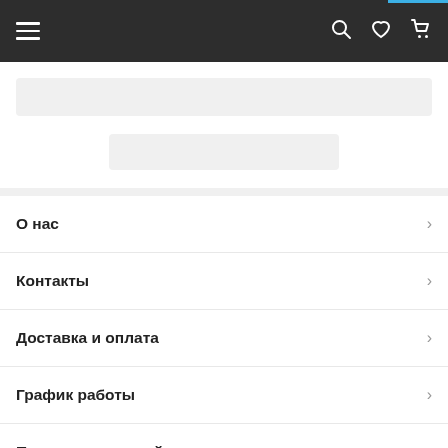Navigation bar with hamburger menu, search, wishlist, and cart icons
[Figure (screenshot): Search bar placeholder (gray rectangle)]
[Figure (screenshot): Logo placeholder (gray rectangle)]
О нас
Контакты
Доставка и оплата
График работы
Полная версия сайта
Сайт создан на платформе Satu.kz